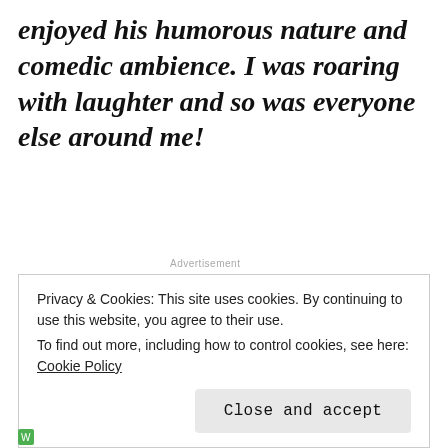enjoyed his humorous nature and comedic ambience. I was roaring with laughter and so was everyone else around me!
Advertisement
As promised, there are no spoilers about the show. Except one, we all got to take a piece of a couple of the acts home
Privacy & Cookies: This site uses cookies. By continuing to use this website, you agree to their use.
To find out more, including how to control cookies, see here: Cookie Policy
Close and accept